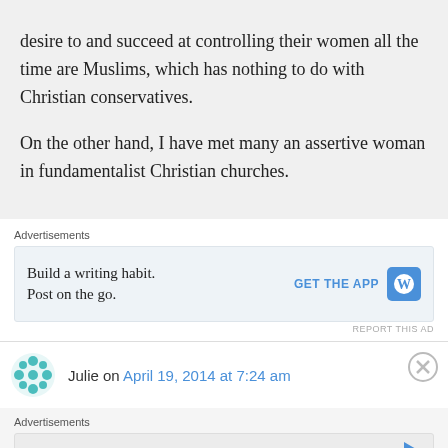desire to and succeed at controlling their women all the time are Muslims, which has nothing to do with Christian conservatives.

On the other hand, I have met many an assertive woman in fundamentalist Christian churches.
Advertisements
[Figure (other): Advertisement box: 'Build a writing habit. Post on the go.' with GET THE APP button and WordPress logo]
Julie on April 19, 2014 at 7:24 am
Advertisements
[Figure (other): Empty advertisement box with a play button icon]